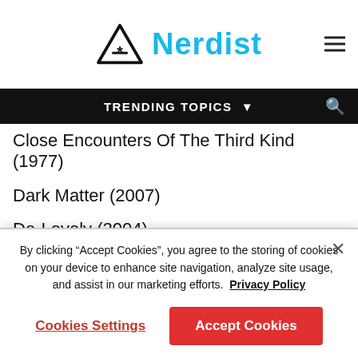Nerdist
TRENDING TOPICS
Close Encounters Of The Third Kind (1977)
Dark Matter (2007)
De-Lovely (2004)
Defense Of The Realm (1986)
Die, Monster, Die! (1965)
Don't Talk To Irene (2018)
Dr. Goldfoot And The Bikini Machine (1965)
Eaten By Lions (2020)
By clicking “Accept Cookies”, you agree to the storing of cookies on your device to enhance site navigation, analyze site usage, and assist in our marketing efforts. Privacy Policy
Cookies Settings | Accept Cookies